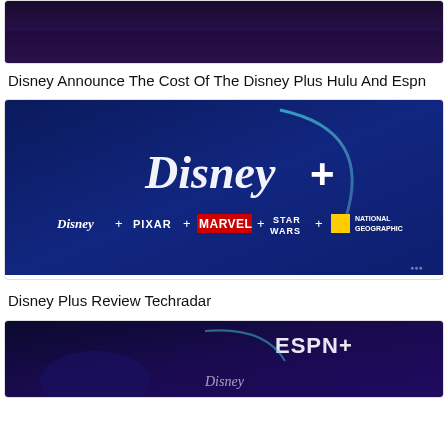[Figure (photo): Top portion of a dark purple/blue image, cropped, partially visible at top of page]
Disney Announce The Cost Of The Disney Plus Hulu And Espn
[Figure (photo): Disney+ promotional image on dark blue background showing Disney+ logo and brand logos: Disney, Pixar, Marvel, Star Wars, National Geographic]
Disney Plus Review Techradar
[Figure (photo): Bottom partial image showing ESPN+ logo on dark blue/purple background with Disney branding visible]